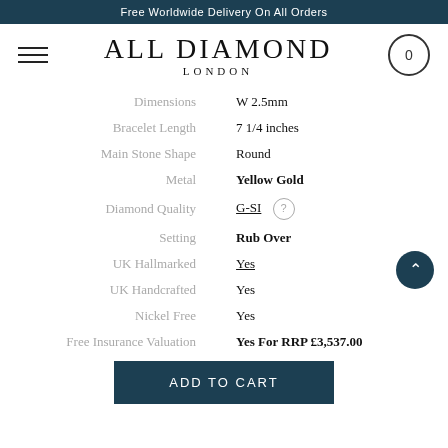Free Worldwide Delivery On All Orders
[Figure (logo): All Diamond London logo with hamburger menu and cart icon]
| Property | Value |
| --- | --- |
| Dimensions | W 2.5mm |
| Bracelet Length | 7 1/4 inches |
| Main Stone Shape | Round |
| Metal | Yellow Gold |
| Diamond Quality | G-SI |
| Setting | Rub Over |
| UK Hallmarked | Yes |
| UK Handcrafted | Yes |
| Nickel Free | Yes |
| Free Insurance Valuation | Yes For RRP £3,537.00 |
ADD TO CART